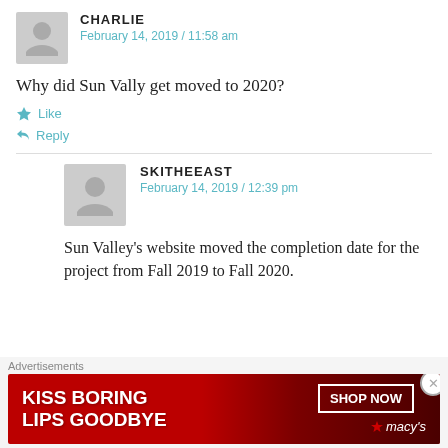CHARLIE
February 14, 2019 / 11:58 am
Why did Sun Vally get moved to 2020?
Like
Reply
SKITHEEAST
February 14, 2019 / 12:39 pm
Sun Valley's website moved the completion date for the project from Fall 2019 to Fall 2020.
Advertisements
[Figure (photo): Macy's advertisement banner: KISS BORING LIPS GOODBYE with SHOP NOW button and Macy's star logo]